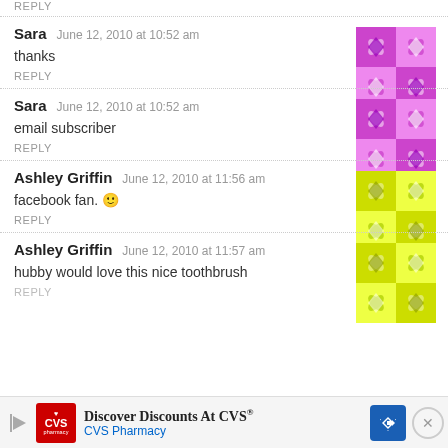REPLY
Sara   June 12, 2010 at 10:52 am
thanks
REPLY
[Figure (illustration): Purple geometric floral pattern avatar for Sara]
Sara   June 12, 2010 at 10:52 am
email subscriber
REPLY
[Figure (illustration): Purple geometric floral pattern avatar for Sara]
Ashley Griffin   June 12, 2010 at 11:56 am
facebook fan. 🙂
REPLY
[Figure (illustration): Yellow-green geometric pattern avatar for Ashley Griffin]
Ashley Griffin   June 12, 2010 at 11:57 am
hubby would love this nice toothbrush
REPLY
[Figure (illustration): Yellow-green geometric pattern avatar for Ashley Griffin]
[Figure (other): CVS Pharmacy advertisement banner: Discover Discounts At CVS®]